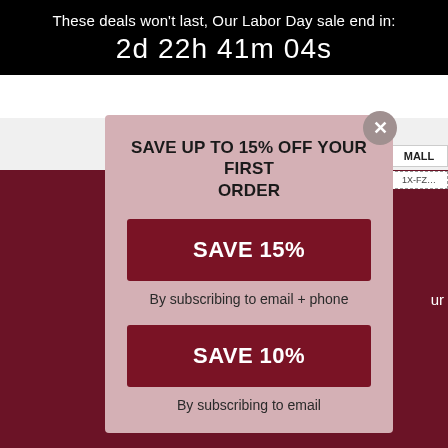These deals won't last, Our Labor Day sale end in:
2d 22h 41m 04s
SAVE UP TO 15% OFF YOUR FIRST ORDER
SAVE 15%
By subscribing to email + phone
SAVE 10%
By subscribing to email